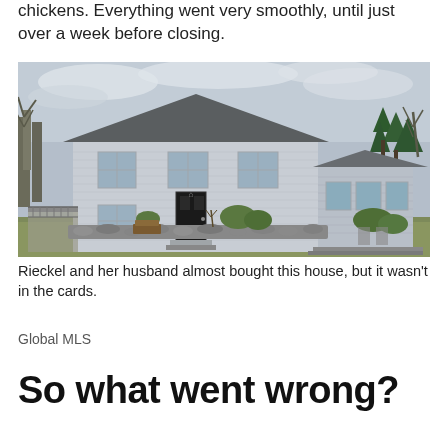chickens. Everything went very smoothly, until just over a week before closing.
[Figure (photo): A two-story gray colonial-style house with a gray roof, front door with steps, a deck on the left, a sunroom addition on the right, stone landscaping walls in front, bare trees and evergreens in the background, overcast sky.]
Rieckel and her husband almost bought this house, but it wasn't in the cards.
Global MLS
So what went wrong?